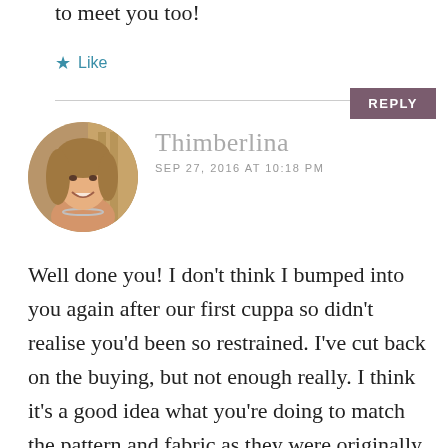to meet you too!
★ Like
REPLY
[Figure (photo): Circular avatar photo of a woman with blonde/brown hair, smiling, wearing a necklace, with a blurred background.]
Thimberlina
SEP 27, 2016 AT 10:18 PM
Well done you! I don't think I bumped into you again after our first cuppa so didn't realise you'd been so restrained. I've cut back on the buying, but not enough really. I think it's a good idea what you're doing to match the pattern and fabric as they were originally intended and crack on